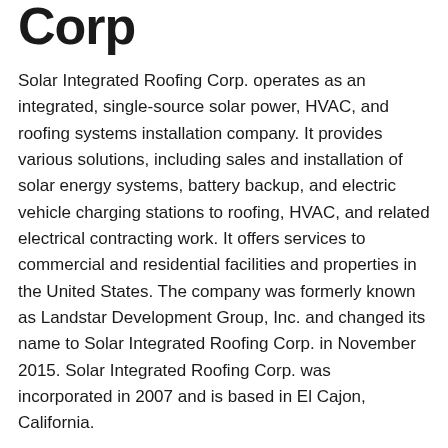Corp
Solar Integrated Roofing Corp. operates as an integrated, single-source solar power, HVAC, and roofing systems installation company. It provides various solutions, including sales and installation of solar energy systems, battery backup, and electric vehicle charging stations to roofing, HVAC, and related electrical contracting work. It offers services to commercial and residential facilities and properties in the United States. The company was formerly known as Landstar Development Group, Inc. and changed its name to Solar Integrated Roofing Corp. in November 2015. Solar Integrated Roofing Corp. was incorporated in 2007 and is based in El Cajon, California.